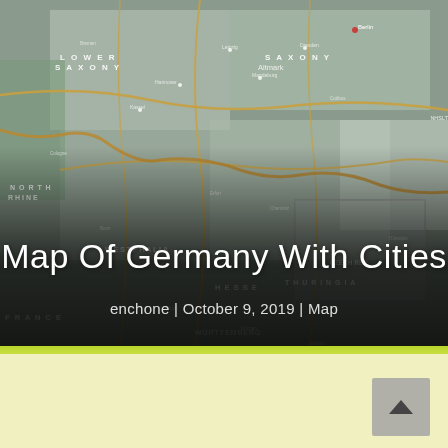[Figure (map): Map of Germany showing states/regions with city labels, roads and borders. Regions visible include Lower Saxony, Saxony, North Rhine-Westphalia, Westphalia, Hesse, Thuringia, Czech Republic border area, France border area, and others. The image has a dark gradient overlay at the bottom.]
Map Of Germany With Cities
enchone | October 9, 2019 | Map